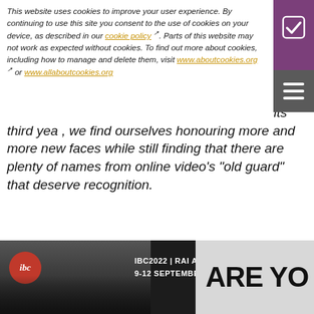This website uses cookies to improve your user experience. By continuing to use this site you consent to the use of cookies on your device, as described in our cookie policy. Parts of this website may not work as expected without cookies. To find out more about cookies, including how to manage and delete them, visit www.aboutcookies.org or www.allaboutcookies.org
As the Streaming Media Dream Team enters its third year, we find ourselves honouring more and more new faces while still finding that there are plenty of names from online video's "old guard" that deserve recognition.
My Kingdom for a Curator!
ERIC SCHUMACHER-RASMUSSEN // 27 APR 2011
Curation is no longer the realm of academia, museums, and galleries. We're all curators now.
Video as a Force for Social Change
[Figure (advertisement): IBC2022 RAI Amsterdam 9-12 September 2022 advertisement banner with city skyline photo and ARE YOU text]